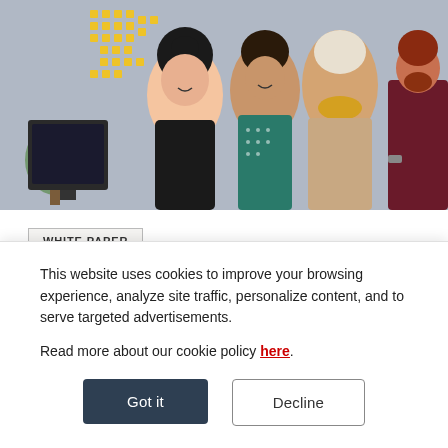[Figure (photo): Office scene with four people standing and smiling, yellow sticky notes on white wall in background, computer monitor visible on left]
WHITE PAPER
Career Pathing and Planning Template
This website uses cookies to improve your browsing experience, analyze site traffic, personalize content, and to serve targeted advertisements.
Read more about our cookie policy here.
Got it
Decline